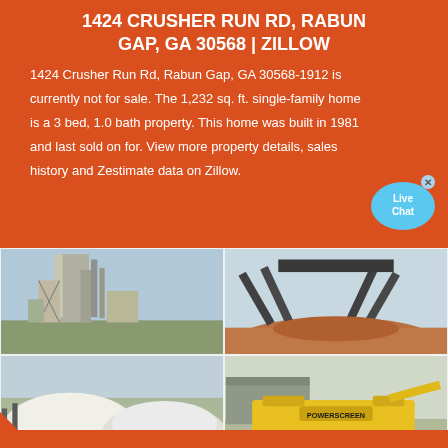1424 CRUSHER RUN RD, RABUN GAP, GA 30568 | ZILLOW
1424 Crusher Run Rd, Rabun Gap, GA 30568-1912 is currently not for sale. The 1,232 sq. ft. single-family home is a 3 bed, 1.0 bath property. This home was built in 1981 and last sold on for. View more property details, sales history and Zestimate data on Zillow.
[Figure (photo): Four photos of crusher run / aggregate industrial facility and machinery: industrial plant, conveyor belt with aggregate piles, large white aggregate mounds, yellow mobile crusher machine.]